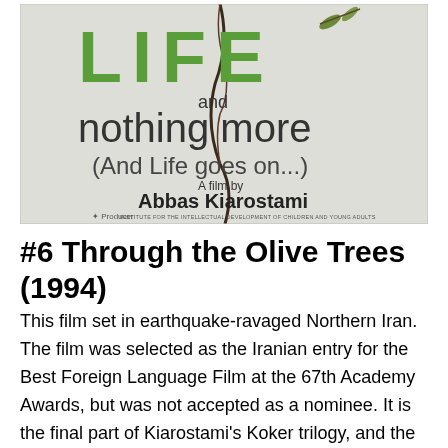[Figure (photo): Movie poster for 'Life and Nothing More (And Life Goes On...)' a film by Abbas Kiarostami, produced by Institute for the Intellectual Development of Children and Young Adults. Shows cracked wall/ground background with green bold text 'LIFE' and black text 'and nothing more (And Life goes on...)']
#6 Through the Olive Trees (1994)
This film set in earthquake-ravaged Northern Iran. The film was selected as the Iranian entry for the Best Foreign Language Film at the 67th Academy Awards, but was not accepted as a nominee. It is the final part of Kiarostami's Koker trilogy, and the plot revolves